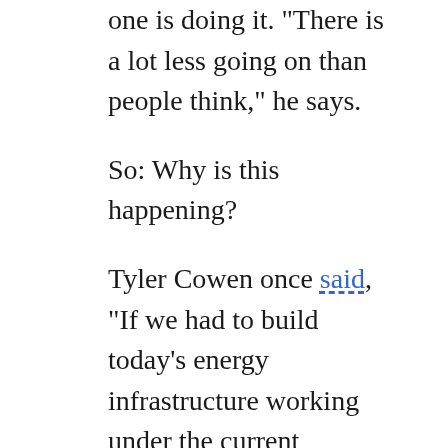one is doing it. "There is a lot less going on than people think," he says.
So: Why is this happening?
Tyler Cowen once said, "If we had to build today's energy infrastructure working under the current regulatory and NIMBY burden, it probably could not be done." Can we extract from this a larger claim that a bloated government and burdensome regulatory environment are significantly dampening innovation? An ever-powerful bureaucratic class strangling creativity? Or is it that the government is not doing enough in funding basic research toward big innovation (as it did